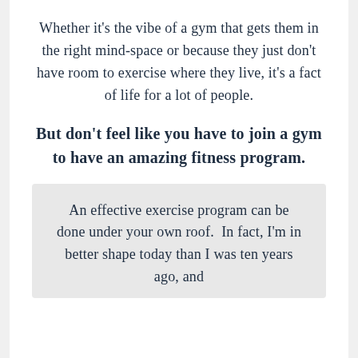Whether it’s the vibe of a gym that gets them in the right mind-space or because they just don’t have room to exercise where they live, it’s a fact of life for a lot of people.
But don’t feel like you have to join a gym to have an amazing fitness program.
An effective exercise program can be done under your own roof.  In fact, I’m in better shape today than I was ten years ago, and